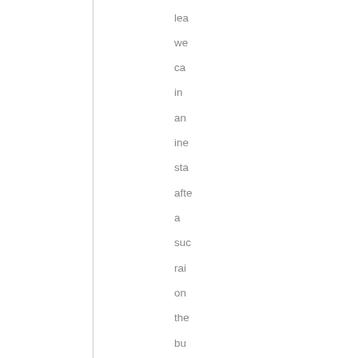lea we ca in an ine sta afte a suc rai on the bu of Ta Th we qui sub and bro to the Pa